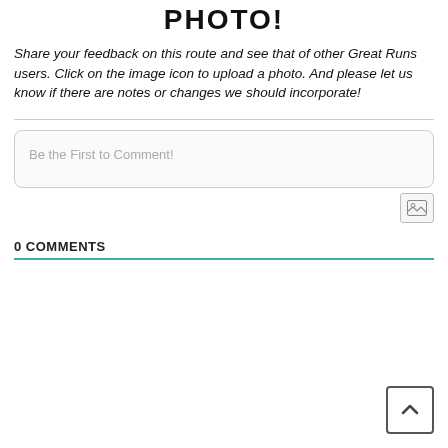PHOTO!
Share your feedback on this route and see that of other Great Runs users. Click on the image icon to upload a photo. And please let us know if there are notes or changes we should incorporate!
Be the First to Comment!
0 COMMENTS